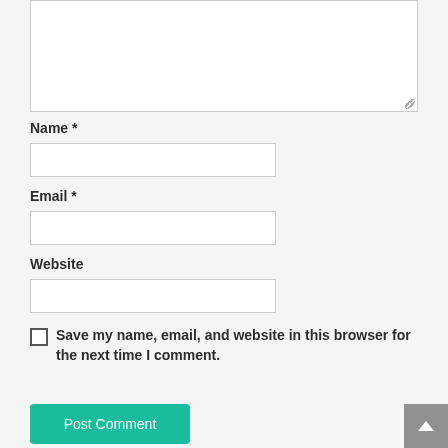[Figure (screenshot): Textarea input box at top of page, partially visible, with resize handle in bottom-right corner]
Name *
[Figure (screenshot): Empty text input field for Name]
Email *
[Figure (screenshot): Empty text input field for Email]
Website
[Figure (screenshot): Empty text input field for Website]
Save my name, email, and website in this browser for the next time I comment.
Post Comment